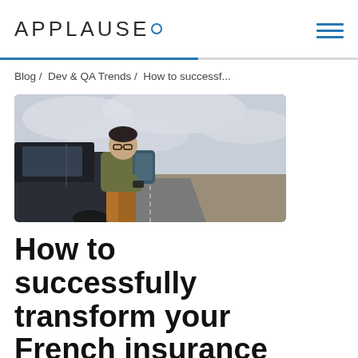APPLAUSE°
Blog / Dev & QA Trends / How to successf...
[Figure (photo): Man with backpack leaning against a car door, looking at his smartphone, with a flat road and cloudy sky in the background.]
How to successfully transform your French insurance